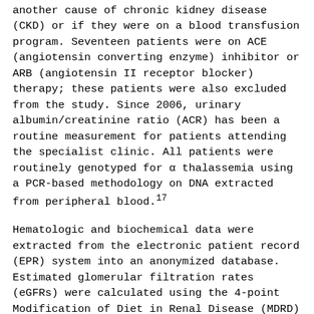another cause of chronic kidney disease (CKD) or if they were on a blood transfusion program. Seventeen patients were on ACE (angiotensin converting enzyme) inhibitor or ARB (angiotensin II receptor blocker) therapy; these patients were also excluded from the study. Since 2006, urinary albumin/creatinine ratio (ACR) has been a routine measurement for patients attending the specialist clinic. All patients were routinely genotyped for α thalassemia using a PCR-based methodology on DNA extracted from peripheral blood.17
Hematologic and biochemical data were extracted from the electronic patient record (EPR) system into an anonymized database. Estimated glomerular filtration rates (eGFRs) were calculated using the 4-point Modification of Diet in Renal Disease (MDRD) formula. Bilirubin was always adjusted for uridine diphosphoglu-curonate glucuronosyltransferase 1A